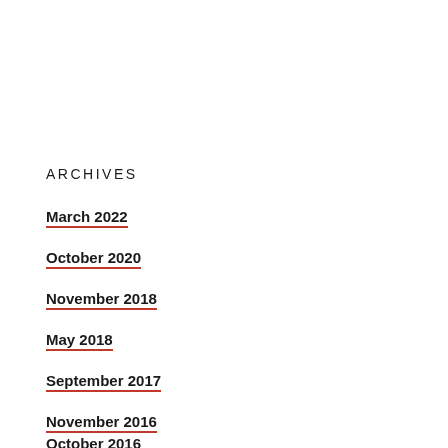ARCHIVES
March 2022
October 2020
November 2018
May 2018
September 2017
November 2016
October 2016